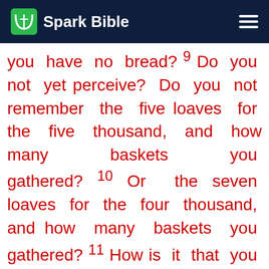Spark Bible
you have no bread? 9 Do you not yet perceive? Do you not remember the five loaves for the five thousand, and how many baskets you gathered? 10 Or the seven loaves for the four thousand, and how many baskets you gathered? 11 How is it that you fail to understand that I did not speak about bread? Beware of the leaven of the Pharisees and Sadducees.” 12 Then they understood that